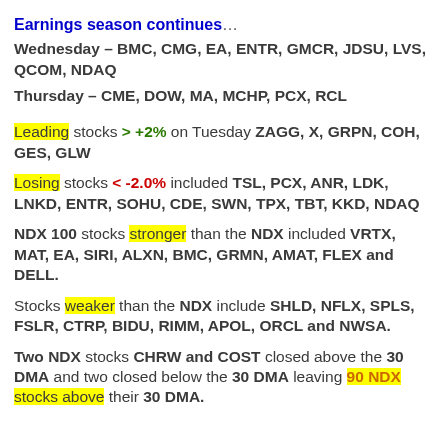Earnings season continues…
Wednesday – BMC, CMG, EA, ENTR, GMCR, JDSU, LVS, QCOM, NDAQ
Thursday – CME, DOW, MA, MCHP, PCX, RCL
Leading stocks > +2% on Tuesday ZAGG, X, GRPN, COH, GES, GLW
Losing stocks < -2.0% included TSL, PCX, ANR, LDK, LNKD, ENTR, SOHU, CDE, SWN, TPX, TBT, KKD, NDAQ
NDX 100 stocks stronger than the NDX included VRTX, MAT, EA, SIRI, ALXN, BMC, GRMN, AMAT, FLEX and DELL.
Stocks weaker than the NDX include SHLD, NFLX, SPLS, FSLR, CTRP, BIDU, RIMM, APOL, ORCL and NWSA.
Two NDX stocks CHRW and COST closed above the 30 DMA and two closed below the 30 DMA leaving 90 NDX stocks above their 30 DMA.